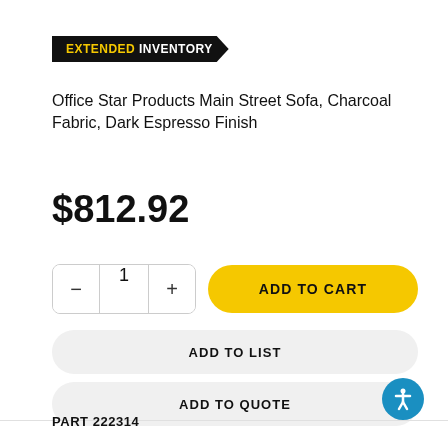[Figure (other): Extended Inventory badge/label in black with arrow shape pointing right, text reads EXTENDED INVENTORY with EXTENDED in yellow]
Office Star Products Main Street Sofa, Charcoal Fabric, Dark Espresso Finish
$812.92
[Figure (other): Quantity selector showing minus button, 1, plus button, and ADD TO CART yellow button]
[Figure (other): ADD TO LIST button]
[Figure (other): ADD TO QUOTE button]
PART 222314